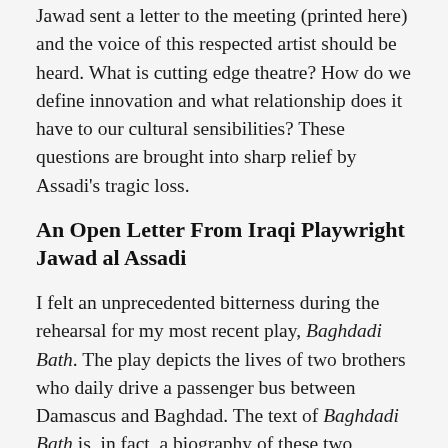Jawad sent a letter to the meeting (printed here) and the voice of this respected artist should be heard. What is cutting edge theatre? How do we define innovation and what relationship does it have to our cultural sensibilities? These questions are brought into sharp relief by Assadi's tragic loss.
An Open Letter From Iraqi Playwright Jawad al Assadi
I felt an unprecedented bitterness during the rehearsal for my most recent play, Baghdadi Bath. The play depicts the lives of two brothers who daily drive a passenger bus between Damascus and Baghdad. The text of Baghdadi Bath is, in fact, a biography of these two brothers, with a touch of fantasy that dominates the theatrical action.